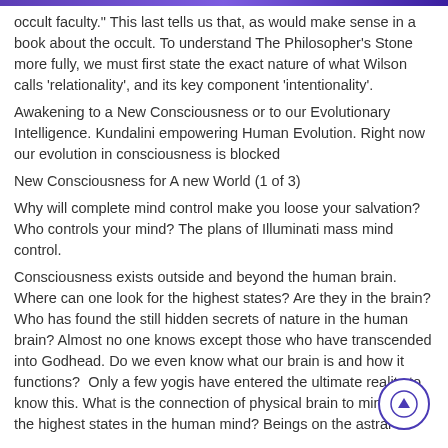occult faculty." This last tells us that, as would make sense in a book about the occult. To understand The Philosopher's Stone more fully, we must first state the exact nature of what Wilson calls 'relationality', and its key component 'intentionality'.
Awakening to a New Consciousness or to our Evolutionary Intelligence. Kundalini empowering Human Evolution. Right now our evolution in consciousness is blocked
New Consciousness for A new World (1 of 3)
Why will complete mind control make you loose your salvation? Who controls your mind? The plans of Illuminati mass mind control.
Consciousness exists outside and beyond the human brain. Where can one look for the highest states? Are they in the brain? Who has found the still hidden secrets of nature in the human brain? Almost no one knows except those who have transcended into Godhead. Do we even know what our brain is and how it functions?  Only a few yogis have entered the ultimate reality to know this. What is the connection of physical brain to mind?  Are the highest states in the human mind? Beings on the astral